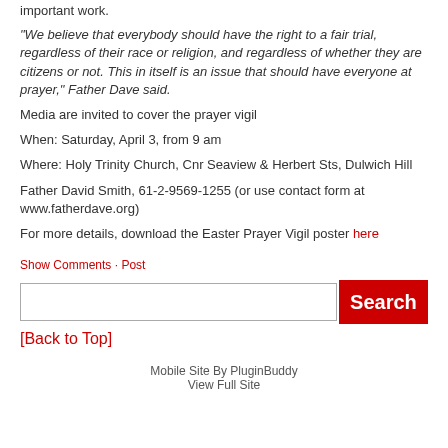important work.
“We believe that everybody should have the right to a fair trial, regardless of their race or religion, and regardless of whether they are citizens or not. This in itself is an issue that should have everyone at prayer,” Father Dave said.
Media are invited to cover the prayer vigil
When: Saturday, April 3, from 9 am
Where: Holy Trinity Church, Cnr Seaview & Herbert Sts, Dulwich Hill
Father David Smith, 61-2-9569-1255 (or use contact form at www.fatherdave.org)
For more details, download the Easter Prayer Vigil poster here
Show Comments · Post
[Back to Top]
Mobile Site By PluginBuddy
View Full Site